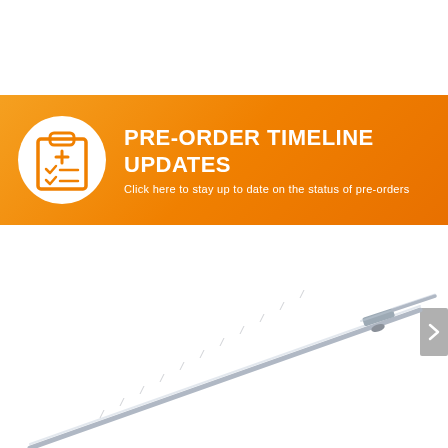[Figure (infographic): Orange banner with clipboard icon and text 'PRE-ORDER TIMELINE UPDATES - Click here to stay up to date on the status of pre-orders']
[Figure (photo): A silver/chrome Olympic barbell shown diagonally across the lower portion of the page on a white background]